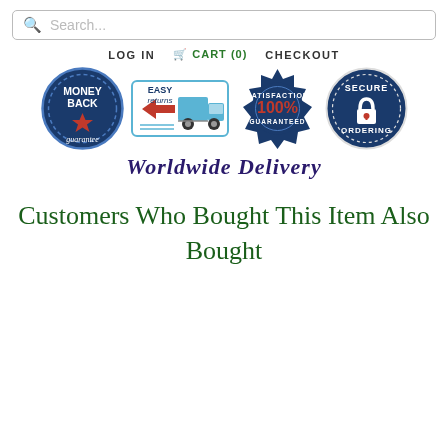Search...
LOG IN   CART (0)   CHECKOUT
[Figure (infographic): Four trust/guarantee badges: Money Back Guarantee (dark blue circle with star), Easy Returns (truck with arrow icon), 100% Satisfaction Guaranteed (dark blue seal with red 100%), Secure Ordering (dark blue circle with padlock). Below badges: 'Worldwide Delivery' in dark purple cursive script.]
Customers Who Bought This Item Also Bought